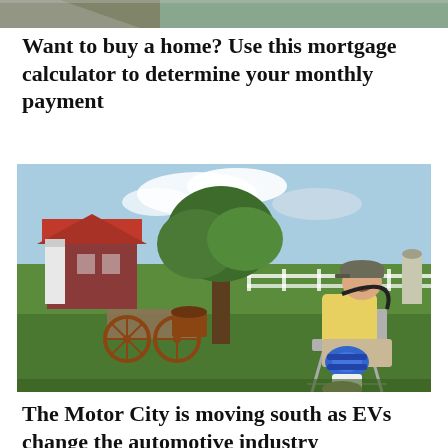[Figure (photo): Partial top image, cropped at top of page — appears to be a house exterior photo.]
Want to buy a home? Use this mortgage calculator to determine your monthly payment
[Figure (photo): An elderly man wearing a yellow shirt, cap, and knee brace sits in a lawn chair on grass. Behind him is a large tree, an antique horse-drawn wagon, a red barn, and green farm fields with a white fence and silo.]
The Motor City is moving south as EVs change the automotive industry